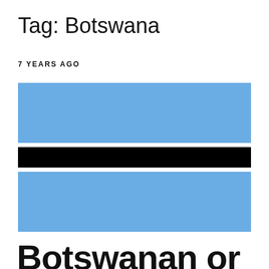Tag: Botswana
7 YEARS AGO
[Figure (illustration): Flag of Botswana — three horizontal bands: light blue on top, a narrow white border, a black middle band, a narrow white border, and light blue on the bottom.]
Botswanan or